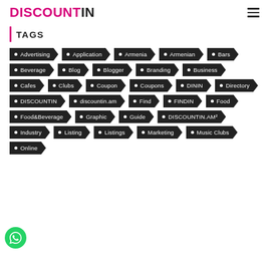DISCOUNTIN
TAGS
Advertising
Application
Armenia
Armenian
Bars
Beverage
Blog
Blogger
Branding
Business
Cafes
Clubs
Coupon
Coupons
DININ
Directory
DISCOUNTIN
discountin.am
Find
FINDIN
Food
Food&Beverage
Graphic
Guide
DISCOUNTIN.AM²
Industry
Listing
Listings
Marketing
Music Clubs
Online